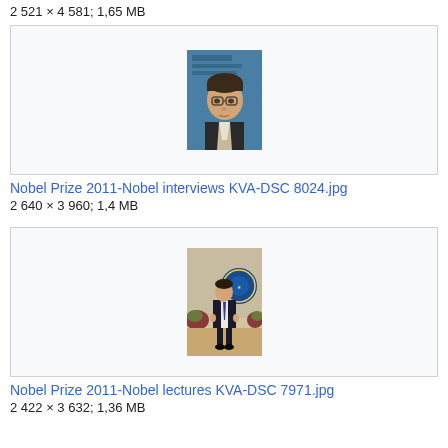2 521 × 4 581; 1,65 MB
[Figure (photo): Portrait photo of a man with glasses in front of a blue backdrop with text, looking slightly upward]
Nobel Prize 2011-Nobel interviews KVA-DSC 8024.jpg
2 640 × 3 960; 1,4 MB
[Figure (photo): Full-body photo of a man in dark suit standing in a formal hall with a blue circular emblem/seal behind him and decorative plants]
Nobel Prize 2011-Nobel lectures KVA-DSC 7971.jpg
2 422 × 3 632; 1,36 MB